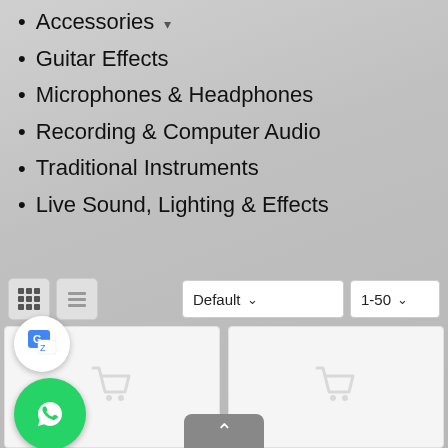Accessories ▾
Guitar Effects
Microphones & Headphones
Recording & Computer Audio
Traditional Instruments
Live Sound, Lighting & Effects
[Figure (screenshot): Toolbar with grid view, list view icons, Default dropdown, and 1-50 page size dropdown]
[Figure (screenshot): Two product card placeholders with shopping cart icons, Google Translate floating button, WhatsApp floating button, and scroll-to-top button]